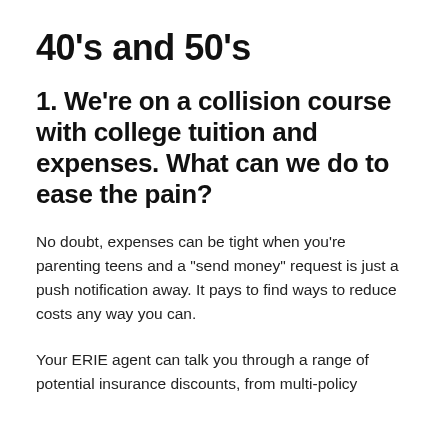40’s and 50’s
1. We’re on a collision course with college tuition and expenses. What can we do to ease the pain?
No doubt, expenses can be tight when you’re parenting teens and a “send money” request is just a push notification away. It pays to find ways to reduce costs any way you can.
Your ERIE agent can talk you through a range of potential insurance discounts, from multi-policy